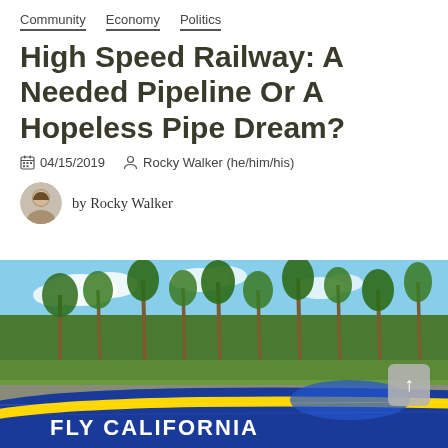Community   Economy   Politics
High Speed Railway: A Needed Pipeline Or A Hopeless Pipe Dream?
04/15/2019   Rocky Walker (he/him/his)
by Rocky Walker
[Figure (photo): Render of a blue and yellow high-speed train with 'FLY CALIFORNIA' text, passing palm trees and greenery at speed. A scroll-to-top button is visible in the lower right corner of the image.]